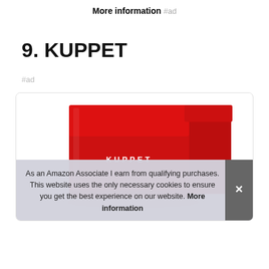More information #ad
9. KUPPET
#ad
[Figure (photo): Red KUPPET mini refrigerator product photo inside a rounded card]
As an Amazon Associate I earn from qualifying purchases. This website uses the only necessary cookies to ensure you get the best experience on our website. More information